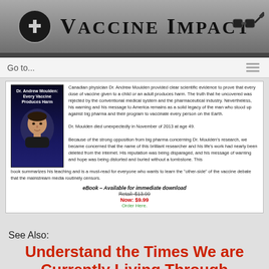Vaccine Impact
Go to...
[Figure (photo): Book cover: Dr. Andrew Moulden: Every Vaccine Produces Harm, showing a man's face against a dark background]
Canadian physician Dr. Andrew Moulden provided clear scientific evidence to prove that every dose of vaccine given to a child or an adult produces harm. The truth that he uncovered was rejected by the conventional medical system and the pharmaceutical industry. Nevertheless, his warning and his message to America remains as a solid legacy of the man who stood up against big pharma and their program to vaccinate every person on the Earth.

Dr. Moulden died unexpectedly in November of 2013 at age 49.

Because of the strong opposition from big pharma concerning Dr. Moulden's research, we became concerned that the name of this brilliant researcher and his life's work had nearly been deleted from the internet. His reputation was being disparaged, and his message of warning and hope was being distorted and buried without a tombstone. This book summarizes his teaching and is a must-read for everyone who wants to learn the "other-side" of the vaccine debate that the mainstream media routinely censors.
eBook – Available for immediate download
Retail: $13.99
Now: $9.99
Order Here.
See Also:
Understand the Times We are Currently Living Through